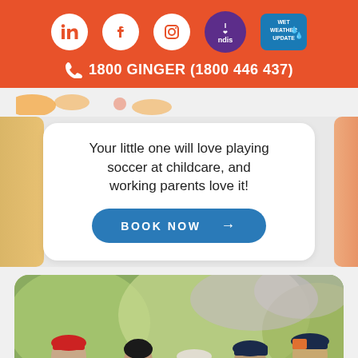1800 GINGER (1800 446 437)
Your little one will love playing soccer at childcare, and working parents love it!
BOOK NOW →
[Figure (photo): Group of young children wearing hats outdoors, standing in a circle, with a blurred green outdoor background]